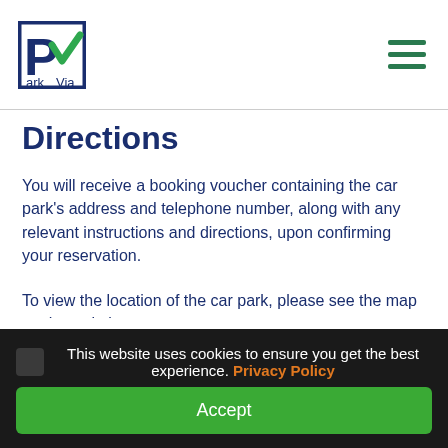[Figure (logo): ParkVia logo with blue P in square and green checkmark]
Directions
You will receive a booking voucher containing the car park's address and telephone number, along with any relevant instructions and directions, upon confirming your reservation.
To view the location of the car park, please see the map on the website.
Features
This website uses cookies to ensure you get the best experience. Privacy Policy
Accept